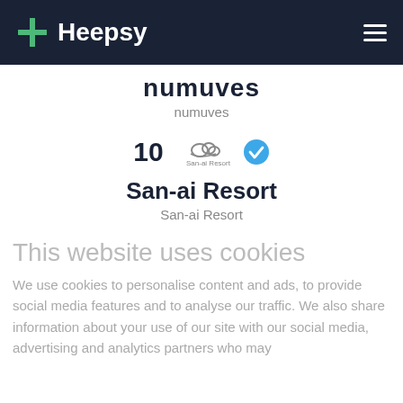Heepsy
numuves
numuves
[Figure (logo): San-ai Resort logo with icon and text, plus a blue verified checkmark badge. Number 10 shown to the left.]
San-ai Resort
San-ai Resort
This website uses cookies
We use cookies to personalise content and ads, to provide social media features and to analyse our traffic. We also share information about your use of our site with our social media, advertising and analytics partners who may